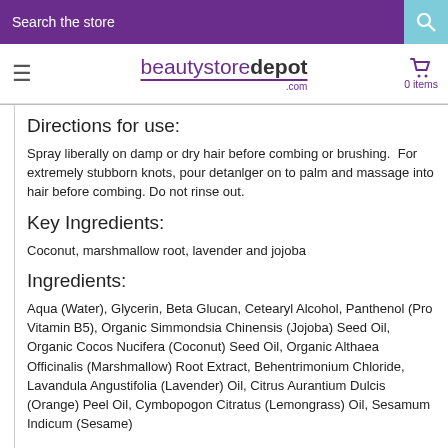Search the store
[Figure (logo): beautystoredepot.com logo with hamburger menu and cart icon showing 0 items]
Directions for use:
Spray liberally on damp or dry hair before combing or brushing.  For extremely stubborn knots, pour detanlger on to palm and massage into hair before combing. Do not rinse out.
Key Ingredients:
Coconut, marshmallow root, lavender and jojoba
Ingredients:
Aqua (Water), Glycerin, Beta Glucan, Cetearyl Alcohol, Panthenol (Pro Vitamin B5), Organic Simmondsia Chinensis (Jojoba) Seed Oil, Organic Cocos Nucifera (Coconut) Seed Oil, Organic Althaea Officinalis (Marshmallow) Root Extract, Behentrimonium Chloride, Lavandula Angustifolia (Lavender) Oil, Citrus Aurantium Dulcis (Orange) Peel Oil, Cymbopogon Citratus (Lemongrass) Oil, Sesamum Indicum (Sesame)